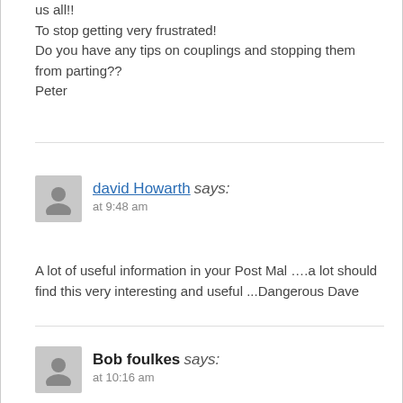us all!!
To stop getting very frustrated!
Do you have any tips on couplings and stopping them from parting??
Peter
david Howarth says:
at 9:48 am
A lot of useful information in your Post Mal ….a lot should find this very interesting and useful ...Dangerous Dave
Bob foulkes says:
at 10:16 am